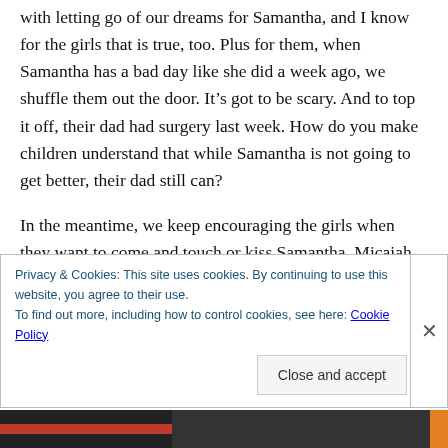with letting go of our dreams for Samantha, and I know for the girls that is true, too. Plus for them, when Samantha has a bad day like she did a week ago, we shuffle them out the door. It’s got to be scary. And to top it off, their dad had surgery last week. How do you make children understand that while Samantha is not going to get better, their dad still can?
In the meantime, we keep encouraging the girls when they want to come and touch or kiss Samantha. Micaiah got to hold her hand briefly today too. And we try to get pictures of all of them this way. For nothing can be right or wrong with...
Privacy & Cookies: This site uses cookies. By continuing to use this website, you agree to their use.
To find out more, including how to control cookies, see here: Cookie Policy
Close and accept